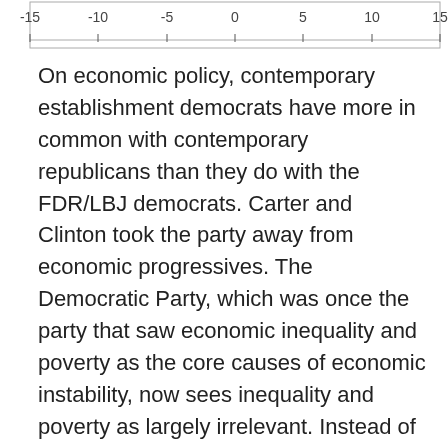[Figure (continuous-plot): Horizontal axis showing scale from -15 to 15 with tick marks at -15, -10, -5, 0, 5, 10, 15. Appears to be the x-axis of a chart cropped at the top of the page.]
On economic policy, contemporary establishment democrats have more in common with contemporary republicans than they do with the FDR/LBJ democrats. Carter and Clinton took the party away from economic progressives. The Democratic Party, which was once the party that saw economic inequality and poverty as the core causes of economic instability, now sees inequality and poverty as largely irrelevant. Instead of eliminating inequality and poverty to fuel the capitalist system and produce strong economic growth, establishment democrats now largely agree with establishment republicans that the problem is a lack of support for business investment.
So Bernie Sanders is not merely running to attempt to